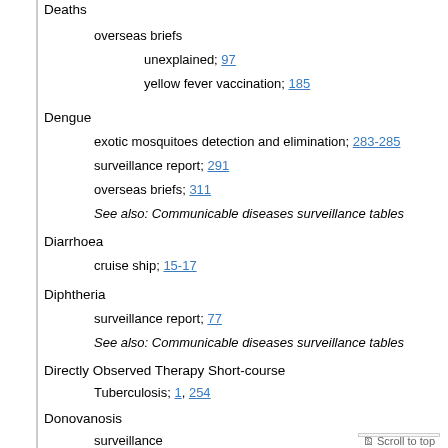Deaths
overseas briefs
unexplained; 97
yellow fever vaccination; 185
Dengue
exotic mosquitoes detection and elimination; 283-285
surveillance report; 291
overseas briefs; 311
See also: Communicable diseases surveillance tables
Diarrhoea
cruise ship; 15-17
Diphtheria
surveillance report; 77
See also: Communicable diseases surveillance tables
Directly Observed Therapy Short-course
Tuberculosis; 1, 254
Donovanosis
surveillance report; 77, 164, 290
See also: Communicable diseases surveillance tables